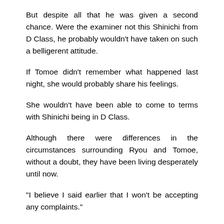But despite all that he was given a second chance. Were the examiner not this Shinichi from D Class, he probably wouldn't have taken on such a belligerent attitude.
If Tomoe didn't remember what happened last night, she would probably share his feelings.
She wouldn't have been able to come to terms with Shinichi being in D Class.
Although there were differences in the circumstances surrounding Ryou and Tomoe, without a doubt, they have been living desperately until now.
“I believe I said earlier that I won’t be accepting any complaints.”
But regardless of if Shinichi knew that or not, the words